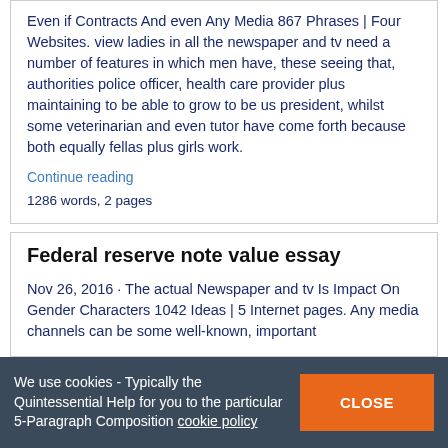Even if Contracts And even Any Media 867 Phrases | Four Websites. view ladies in all the newspaper and tv need a number of features in which men have, these seeing that, authorities police officer, health care provider plus maintaining to be able to grow to be us president, whilst some veterinarian and even tutor have come forth because both equally fellas plus girls work.
Continue reading
1286 words, 2 pages
Federal reserve note value essay
Nov 26, 2016 · The actual Newspaper and tv Is Impact On Gender Characters 1042 Ideas | 5 Internet pages. Any media channels can be some well-known, important
We use cookies - Typically the Quintessential Help for you to the particular 5-Paragraph Composition cookie policy